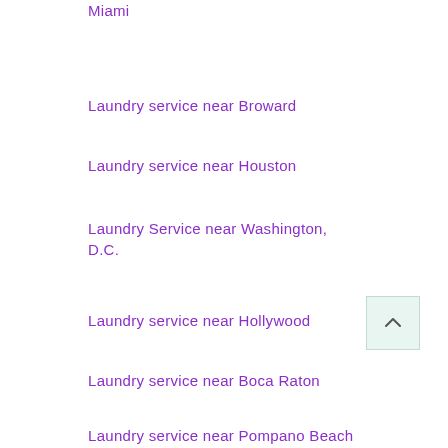Laundry service near South Beach Miami
Laundry service near Broward
Laundry service near Houston
Laundry Service near Washington, D.C.
Laundry service near Hollywood
Laundry service near Boca Raton
Laundry service near Pompano Beach